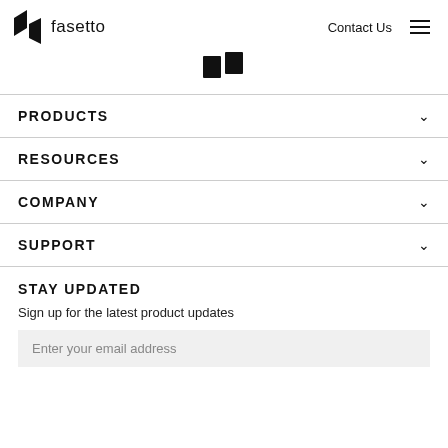fasetto  Contact Us
[Figure (logo): Fasetto logo icon centered]
PRODUCTS
RESOURCES
COMPANY
SUPPORT
STAY UPDATED
Sign up for the latest product updates
Enter your email address